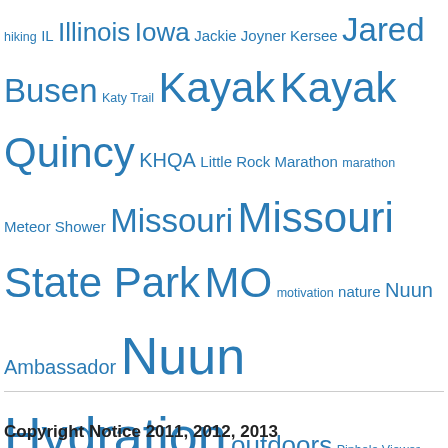hiking IL Illinois Iowa Jackie Joyner Kersee Jared Busen Katy Trail Kayak Kayak Quincy KHQA Little Rock Marathon marathon Meteor Shower Missouri Missouri State Park MO motivation nature Nuun Ambassador Nuun Hydration outdoors Pinhole Viewer Quincy quincy bicycle club Quincy Bike Club Quincy IL Quincy Illinois Race Recap Race Report RAGBRAI 2012 Run Happens Running safety share the road Siloam Springs State Park Slipped Gears TOMRV training transportation travel Trek Madone Ultra Marathon Ultra Running V Fuel V Fuel Endurance Gel Vi Fuel wyconda state park
Copyright Notice 2011, 2012, 2013